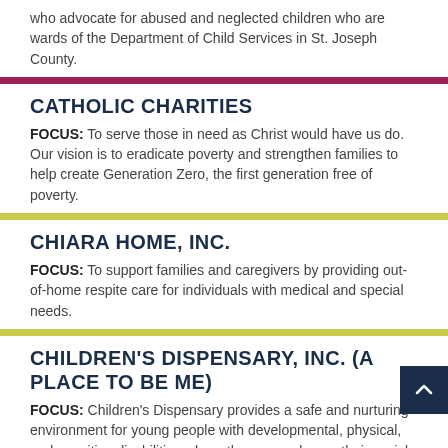who advocate for abused and neglected children who are wards of the Department of Child Services in St. Joseph County.
CATHOLIC CHARITIES
FOCUS: To serve those in need as Christ would have us do. Our vision is to eradicate poverty and strengthen families to help create Generation Zero, the first generation free of poverty.
CHIARA HOME, INC.
FOCUS: To support families and caregivers by providing out-of-home respite care for individuals with medical and special needs.
CHILDREN'S DISPENSARY, INC. (A PLACE TO BE ME)
FOCUS: Children's Dispensary provides a safe and nurturing environment for young people with developmental, physical, and cognitive disabilities where they can enhance their social interactions, learn important life skills, and enjoy new experie...
CHRIST CHILD SOCIETY